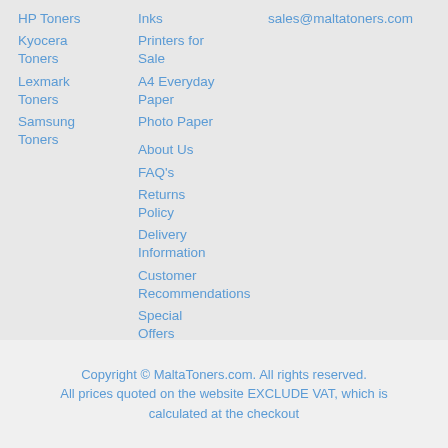HP Toners
Kyocera Toners
Lexmark Toners
Samsung Toners
Inks
Printers for Sale
A4 Everyday Paper
Photo Paper
About Us
FAQ's
Returns Policy
Delivery Information
Customer Recommendations
Special Offers
sales@maltatoners.com
Copyright © MaltaToners.com. All rights reserved. All prices quoted on the website EXCLUDE VAT, which is calculated at the checkout